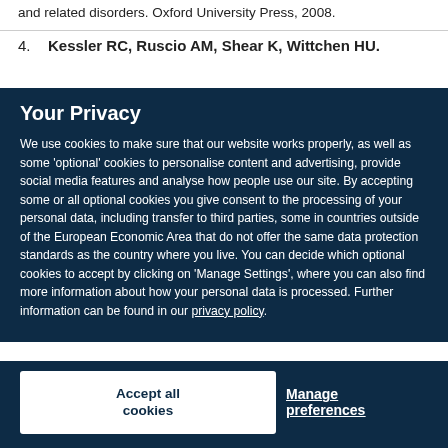and related disorders. Oxford University Press, 2008.
4.  Kessler RC, Ruscio AM, Shear K, Wittchen HU.
Your Privacy
We use cookies to make sure that our website works properly, as well as some ‘optional’ cookies to personalise content and advertising, provide social media features and analyse how people use our site. By accepting some or all optional cookies you give consent to the processing of your personal data, including transfer to third parties, some in countries outside of the European Economic Area that do not offer the same data protection standards as the country where you live. You can decide which optional cookies to accept by clicking on ‘Manage Settings’, where you can also find more information about how your personal data is processed. Further information can be found in our privacy policy.
Accept all cookies
Manage preferences